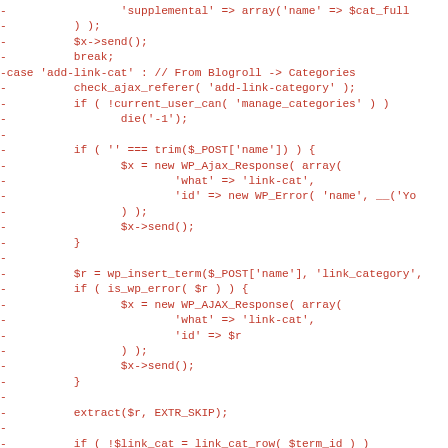[Figure (other): Diff/patch code snippet showing removed lines (prefixed with '-') in red monospace font, containing PHP code for WordPress AJAX handler for 'add-link-cat' case]